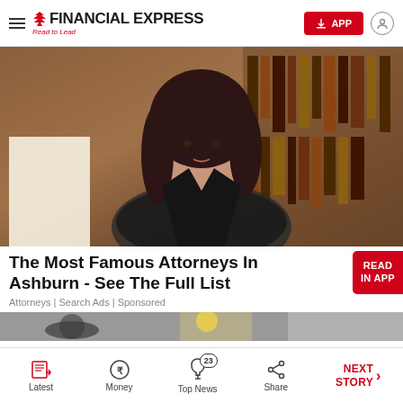FINANCIAL EXPRESS — Read to Lead
[Figure (photo): Professional woman attorney with dark hair, seated at a desk in a law office with bookshelves in background, wearing a dark pinstripe blazer]
The Most Famous Attorneys In Ashburn - See The Full List
Attorneys | Search Ads | Sponsored
[Figure (photo): Partial view of a second article image showing a car steering wheel and a lemon]
Latest | Money | Top News (23) | Share | NEXT STORY